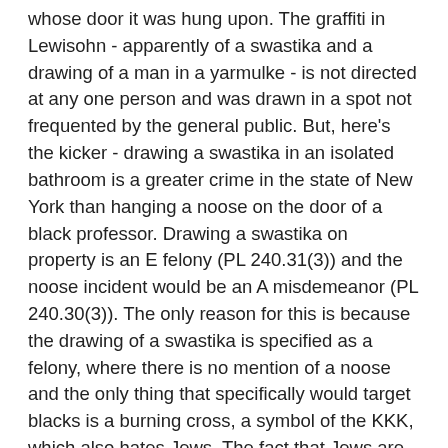whose door it was hung upon. The graffiti in Lewisohn - apparently of a swastika and a drawing of a man in a yarmulke - is not directed at any one person and was drawn in a spot not frequented by the general public. But, here's the kicker - drawing a swastika in an isolated bathroom is a greater crime in the state of New York than hanging a noose on the door of a black professor. Drawing a swastika on property is an E felony (PL 240.31(3)) and the noose incident would be an A misdemeanor (PL 240.30(3)). The only reason for this is because the drawing of a swastika is specified as a felony, where there is no mention of a noose and the only thing that specifically would target blacks is a burning cross, a symbol of the KKK, which also hates Jews. The fact that Jews are specifically protected under New York law and blacks are not is telling and may be in violation of the 14th Amendment of the United States Constitution. In my view, however, a specific threat against someone in plain view, using a symbol of hate associated with disgusting acts, far outweighs graffiti in a bathroom stall in hidden view of a symbol of hate associated with disgusting acts.
So let's get into another aspect of this whole mess - the